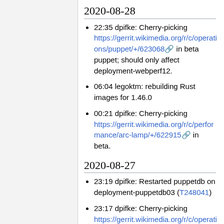2020-08-28
22:35 dpifke: Cherry-picking https://gerrit.wikimedia.org/r/c/operations/puppet/+/623068 in beta puppet; should only affect deployment-webperf12.
06:04 legoktm: rebuilding Rust images for 1.46.0
00:21 dpifke: Cherry-picking https://gerrit.wikimedia.org/r/c/performance/arc-lamp/+/622915 in beta.
2020-08-27
23:19 dpifke: Restarted puppetdb on deployment-puppetdb03 (T248041)
23:17 dpifke: Cherry-picking https://gerrit.wikimedia.org/r/c/operations/puppet/+/622904 in beta